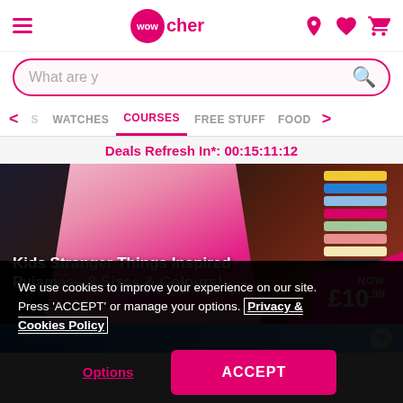Wowcher - header navigation with hamburger menu, logo, location, wishlist, and basket icons
What are y
S
WATCHES
COURSES
FREE STUFF
FOOD
Deals Refresh In*: 00:15:11:12
[Figure (photo): Product banner showing Kids Stranger Things Inspired Pyjamas - pink shorts with Hellfire Club logo and stacked colourful pyjamas, priced NOW £10.99]
Kids Stranger Things Inspired Pyjamas - 8 Sizes & Colours!
NOW £10.99
[Figure (photo): Blue gradient banner strip with heart/wishlist icon]
We use cookies to improve your experience on our site. Press 'ACCEPT' or manage your options. Privacy & Cookies Policy
Options
ACCEPT